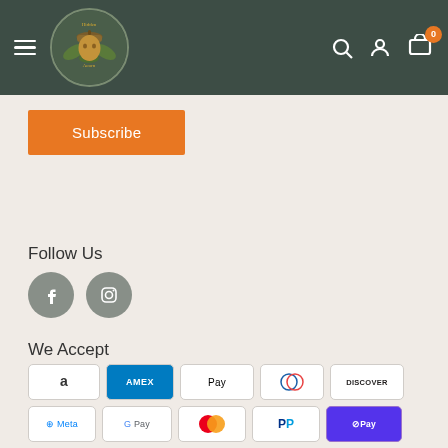[Figure (screenshot): Navigation bar with hamburger menu, Hidden Acorn logo (acorn illustration with leaves), search icon, user icon, and cart icon with badge showing 0]
Subscribe
Follow Us
[Figure (other): Social media icons: Facebook (f) and Instagram camera icon, both in gray circles]
We Accept
[Figure (other): Payment method badges: Amazon, AMEX, Apple Pay, Diners Club, Discover, Meta, Google Pay, Mastercard, PayPal, Shop Pay, Venmo, VISA]